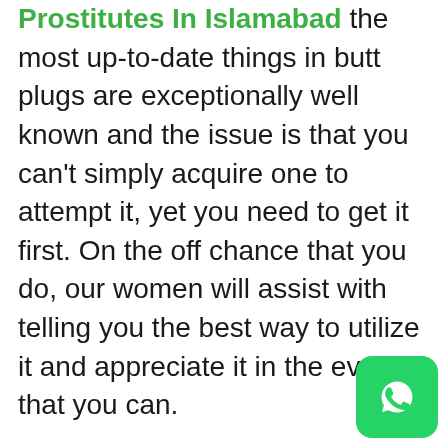Prostitutes In Islamabad the most up-to-date things in butt plugs are exceptionally well known and the issue is that you can't simply acquire one to attempt it, yet you need to get it first. On the off chance that you do, our women will assist with telling you the best way to utilize it and appreciate it in the event that you can.

They are distinct that the deals in butt-centric toys have been going up as the no-no around them falls as of late. The vast majority of you are presumably imagining that solitary gay men can appreciate it, yet that isn't actually obvious, they say, everybody can appreciate it. It used to be the reasoning that ladies detest this is on the grounds that there's no actual motivation to ladies to play around with it, yet that isn't accurate as indicated
[Figure (logo): WhatsApp icon button — green rounded square with white WhatsApp phone logo]